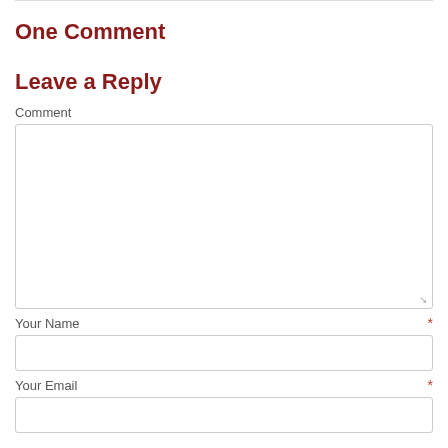One Comment
Leave a Reply
Comment
Your Name *
Your Email *